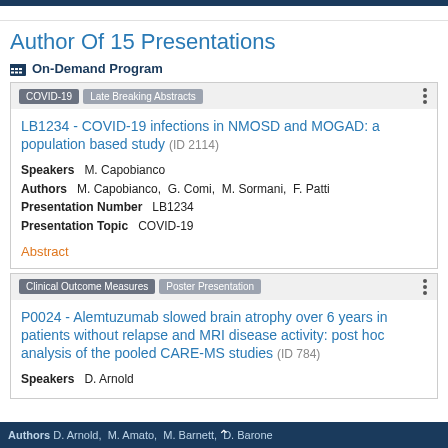Author Of 15 Presentations
On-Demand Program
COVID-19 | Late Breaking Abstracts
LB1234 - COVID-19 infections in NMOSD and MOGAD: a population based study (ID 2114)
Speakers M. Capobianco
Authors M. Capobianco, G. Comi, M. Sormani, F. Patti
Presentation Number LB1234
Presentation Topic COVID-19
Abstract
Clinical Outcome Measures | Poster Presentation
P0024 - Alemtuzumab slowed brain atrophy over 6 years in patients without relapse and MRI disease activity: post hoc analysis of the pooled CARE-MS studies (ID 784)
Speakers D. Arnold
Authors D. Arnold, M. Amato, M. Barnett, D. Barone